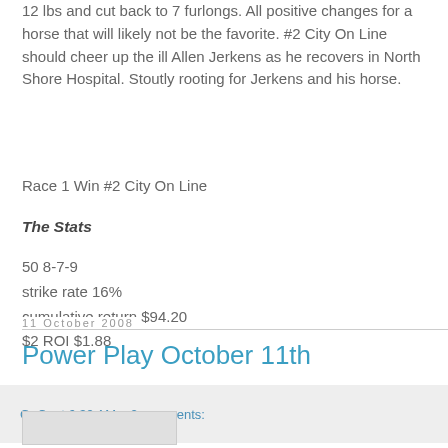12 lbs and cut back to 7 furlongs. All positive changes for a horse that will likely not be the favorite. #2 City On Line should cheer up the ill Allen Jerkens as he recovers in North Shore Hospital. Stoutly rooting for Jerkens and his horse.
Race 1 Win #2 City On Line
The Stats
50 8-7-9
strike rate 16%
cumulative return $94.20
$2 ROI $1.88
G. C. at 6:39 AM    2 comments:
11 October 2008
Power Play October 11th
[Figure (other): Image placeholder/thumbnail]